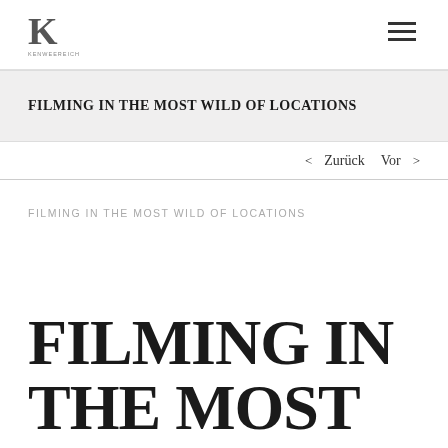K KENWEEREICH
FILMING IN THE MOST WILD OF LOCATIONS
< Zurück   Vor >
FILMING IN THE MOST WILD OF LOCATIONS
FILMING IN THE MOST